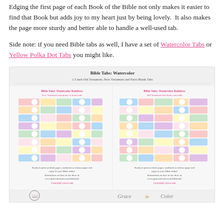Edging the first page of each Book of the Bible not only makes it easier to find that Book but adds joy to my heart just by being lovely.  It also makes the page more sturdy and better able to handle a well-used tab.
Side note: if you need Bible tabs as well, I have a set of Watercolor Tabs or Yellow Polka Dot Tabs you might like.
[Figure (photo): Image of Bible Tabs: Watercolor product sheets showing colorful watercolor rainbow tab sets for Old and New Testament Bible books, with the Grace in Color logo at the bottom.]